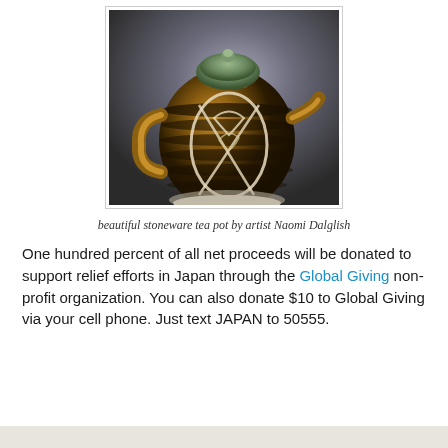[Figure (photo): A stoneware teapot with dark brown and golden glaze, decorated with white sgraffito abstract designs. The teapot has a handle on the left, a spout on the right, and a lid with a small knob on top. Set against a dark gradient background.]
beautiful stoneware tea pot by artist Naomi Dalglish
One hundred percent of all net proceeds will be donated to support relief efforts in Japan through the Global Giving non-profit organization. You can also donate $10 to Global Giving via your cell phone. Just text JAPAN to 50555.